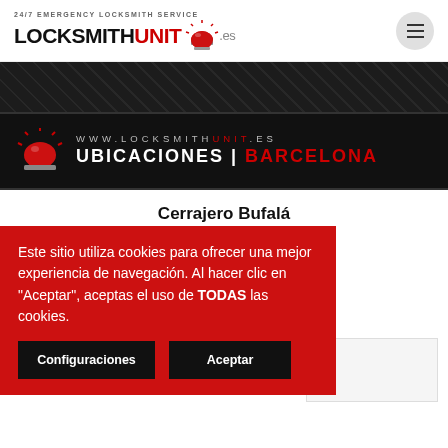24/7 EMERGENCY LOCKSMITH SERVICE — LOCKSMITHUNIT.es
[Figure (infographic): Dark diamond-pattern banner strip]
[Figure (infographic): Hero banner with alarm icon, www.locksmithunit.es, UBICACIONES | BARCELONA]
Cerrajero Bufalá
Bufalá, BCN: Llamenos al +34 676 38 40 43 o ... ntinuación y ... con usted en
Este sitio utiliza cookies para ofrecer una mejor experiencia de navegación. Al hacer clic en "Aceptar", aceptas el uso de TODAS las cookies.
Configuraciones
Aceptar